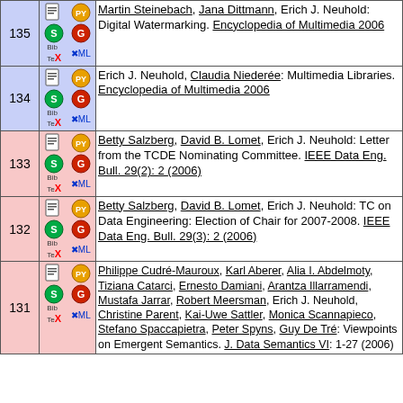| # | Icons | Reference |
| --- | --- | --- |
| 135 | [icons] | Martin Steinebach, Jana Dittmann, Erich J. Neuhold: Digital Watermarking. Encyclopedia of Multimedia 2006 |
| 134 | [icons] | Erich J. Neuhold, Claudia Niederée: Multimedia Libraries. Encyclopedia of Multimedia 2006 |
| 133 | [icons] | Betty Salzberg, David B. Lomet, Erich J. Neuhold: Letter from the TCDE Nominating Committee. IEEE Data Eng. Bull. 29(2): 2 (2006) |
| 132 | [icons] | Betty Salzberg, David B. Lomet, Erich J. Neuhold: TC on Data Engineering: Election of Chair for 2007-2008. IEEE Data Eng. Bull. 29(3): 2 (2006) |
| 131 | [icons] | Philippe Cudré-Mauroux, Karl Aberer, Alia I. Abdelmoty, Tiziana Catarci, Ernesto Damiani, Arantza Illarramendi, Mustafa Jarrar, Robert Meersman, Erich J. Neuhold, Christine Parent, Kai-Uwe Sattler, Monica Scannapieco, Stefano Spaccapietra, Peter Spyns, Guy De Tré: Viewpoints on Emergent Semantics. J. Data Semantics VI: 1-27 (2006) |